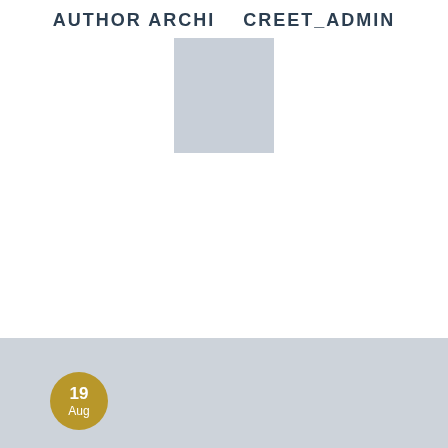AUTHOR ARCHI  CREET_ADMIN
[Figure (photo): Gray placeholder rectangle representing an author avatar/profile photo, centered below the header text]
[Figure (infographic): Light gray card at bottom of page with a gold circular date badge showing '19 Aug']